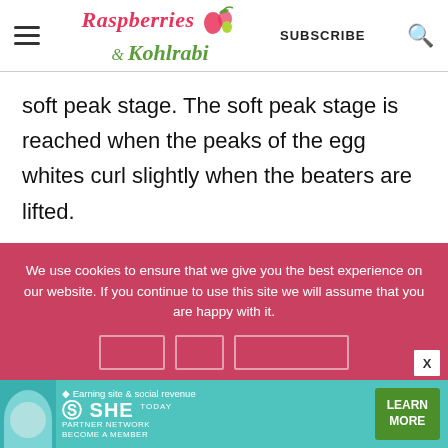Raspberries & Kohlrabi — SUBSCRIBE
soft peak stage. The soft peak stage is reached when the peaks of the egg whites curl slightly when the beaters are lifted.

If you have ever wondered about
We use cookies to ensure that we give you the best experience on our website. If you continue to use this site we will assume that you are happy with it.
[Figure (screenshot): SHE Partner Network advertisement banner with a person, text 'Earning site & social revenue', SHE logo, 'PARTNER NETWORK BECOME A MEMBER', and 'LEARN MORE' green button]